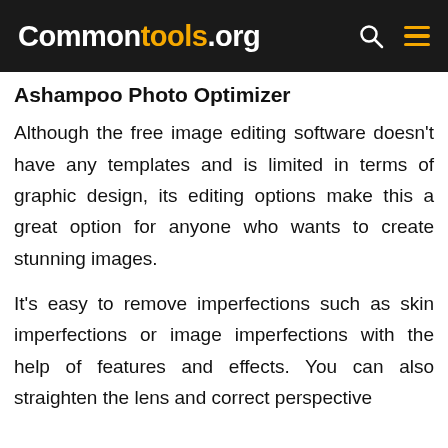Commontools.org
Ashampoo Photo Optimizer
Although the free image editing software doesn't have any templates and is limited in terms of graphic design, its editing options make this a great option for anyone who wants to create stunning images.
It's easy to remove imperfections such as skin imperfections or image imperfections with the help of features and effects. You can also straighten the lens and correct perspective